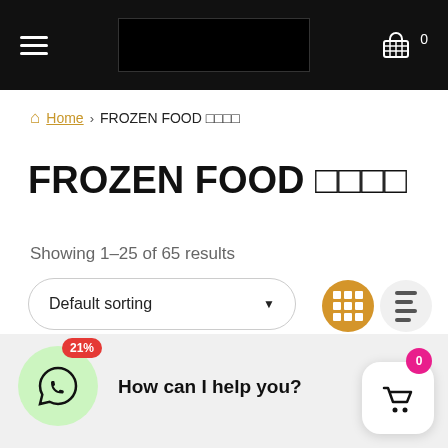Navigation bar with hamburger menu, logo, and cart icon with count 0
Home › FROZEN FOOD 🟫🟫🟫🟫
FROZEN FOOD 🟫🟫🟫🟫
Showing 1–25 of 65 results
Default sorting
How can I help you?